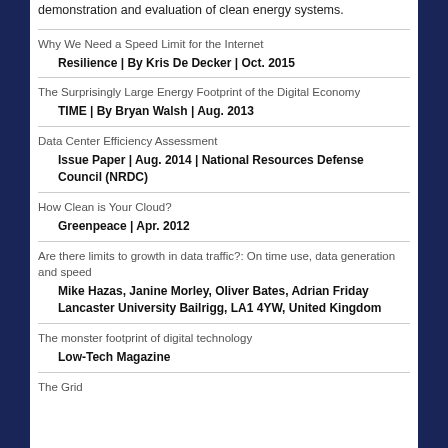demonstration and evaluation of clean energy systems.
Why We Need a Speed Limit for the Internet
Resilience | By Kris De Decker | Oct. 2015
The Surprisingly Large Energy Footprint of the Digital Economy
TIME | By Bryan Walsh | Aug. 2013
Data Center Efficiency Assessment
Issue Paper | Aug. 2014 | National Resources Defense Council (NRDC)
How Clean is Your Cloud?
Greenpeace | Apr. 2012
Are there limits to growth in data traffic?: On time use, data generation and speed
Mike Hazas, Janine Morley, Oliver Bates, Adrian Friday Lancaster University Bailrigg, LA1 4YW, United Kingdom
The monster footprint of digital technology
Low-Tech Magazine
The Grid